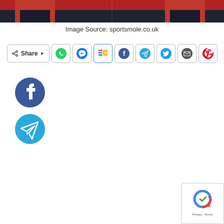[Figure (photo): Bottom portion of a sports photo showing two people in red and navy sportswear, cropped at legs/torso]
Image Source: sportsmole.co.uk
[Figure (infographic): Share bar with Share label and social media icon buttons: WhatsApp, Messenger, Google News, Facebook, Telegram, Twitter, Email, Pinterest]
[Figure (logo): Facebook circular logo icon (blue circle with white F)]
[Figure (logo): Telegram circular logo icon (blue circle with white paper plane)]
[Figure (other): reCAPTCHA badge with Privacy and Terms text in bottom right corner]